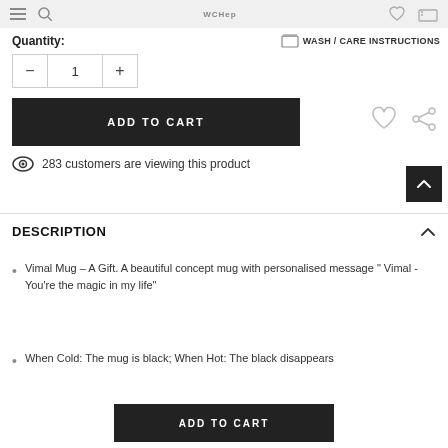Navigation header with icons
Quantity:
WASH / CARE INSTRUCTIONS
− 1 +
ADD TO CART
283 customers are viewing this product
DESCRIPTION
Vimal Mug – A Gift. A beautiful concept mug with personalised message " Vimal - You're the magic in my life"
When Cold: The mug is black; When Hot: The black disappears
ADD TO CART